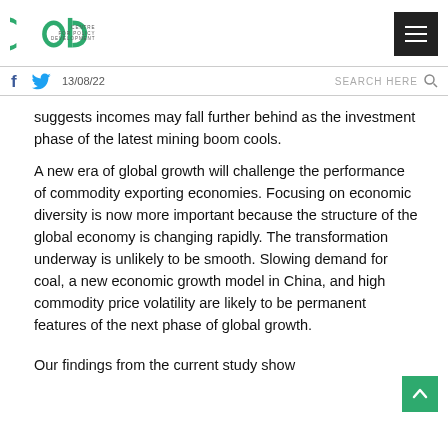Centre for Policy Development — navigation header with logo, menu button, social icons, date 13/08/22, search
suggests incomes may fall further behind as the investment phase of the latest mining boom cools.
A new era of global growth will challenge the performance of commodity exporting economies. Focusing on economic diversity is now more important because the structure of the global economy is changing rapidly. The transformation underway is unlikely to be smooth. Slowing demand for coal, a new economic growth model in China, and high commodity price volatility are likely to be permanent features of the next phase of global growth.
Our findings from the current study show